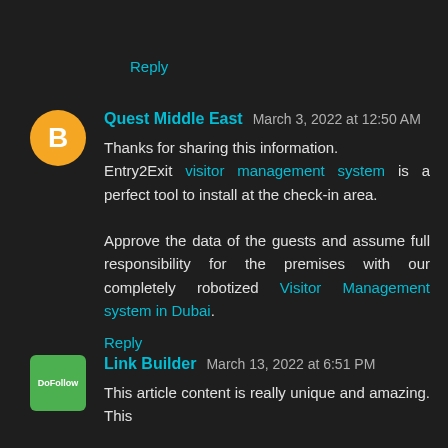Reply
Quest Middle East  March 3, 2022 at 12:50 AM
Thanks for sharing this information. Entry2Exit visitor management system is a perfect tool to install at the check-in area.

Approve the data of the guests and assume full responsibility for the premises with our completely robotized Visitor Management system in Dubai.
Reply
Link Builder  March 13, 2022 at 6:51 PM
This article content is really unique and amazing. This